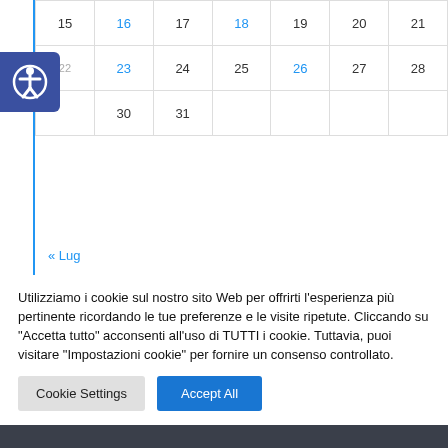|  | Lu | Ma | Me | Gi | Ve | Sa | Do |
| --- | --- | --- | --- | --- | --- | --- | --- |
|  | 15 | 16 | 17 | 18 | 19 | 20 | 21 |
| 22 | 23 | 24 | 25 | 26 | 27 | 28 |  |
|  | 30 | 31 |  |  |  |  |  |
« Lug
[Figure (logo): School logo banner showing I.I.S. stamp and B.A. text]
Utilizziamo i cookie sul nostro sito Web per offrirti l'esperienza più pertinente ricordando le tue preferenze e le visite ripetute. Cliccando su "Accetta tutto" acconsenti all'uso di TUTTI i cookie. Tuttavia, puoi visitare "Impostazioni cookie" per fornire un consenso controllato.
Cookie Settings
Accept All